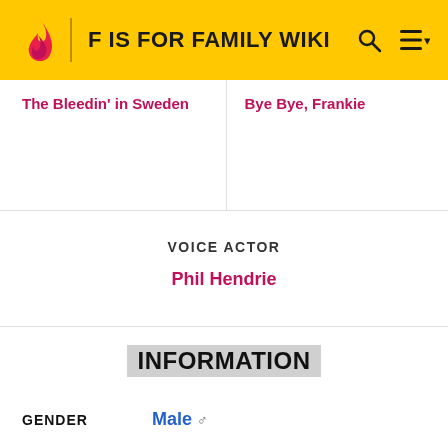F IS FOR FAMILY WIKI
The Bleedin' in Sweden | Bye Bye, Frankie
VOICE ACTOR
Phil Hendrie
INFORMATION
| Field | Value |
| --- | --- |
| GENDER | Male ♂ |
| SPECIES | Human |
| AGE | 46 |